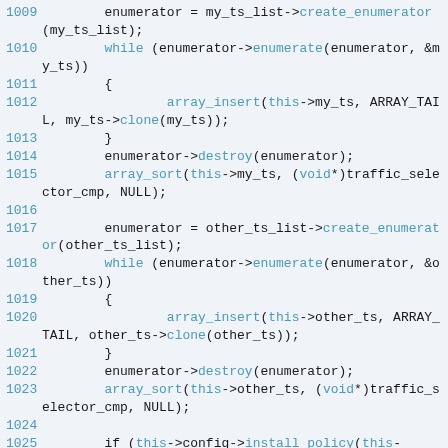[Figure (screenshot): Source code listing showing C++ code lines 1009-1025 with syntax highlighting. Line numbers in blue/teal, keywords and function names in blue, regular code in dark/black. Background is light blue-grey.]